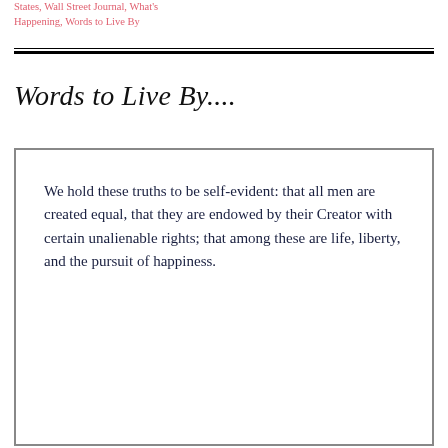States, Wall Street Journal, What's Happening, Words to Live By
Words to Live By....
[Figure (illustration): Framed box containing the Declaration of Independence quote in decorative typeface: 'We hold these truths to be self-evident: that all men are created equal, that they are endowed by their Creator with certain unalienable rights; that among these are life, liberty, and the pursuit of happiness.']